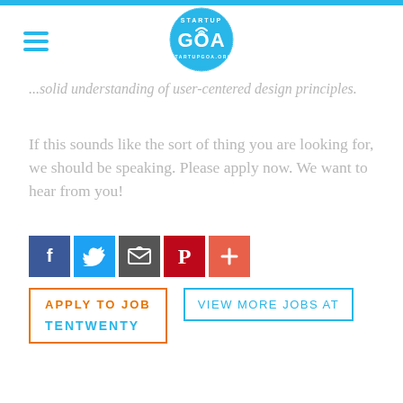[Figure (logo): Startup Goa logo — circular blue badge with 'GOA' text and wifi signal icon, 'STARTUPGOA.ORG' around the edge]
...solid understanding of user-centered design principles.
If this sounds like the sort of thing you are looking for, we should be speaking. Please apply now. We want to hear from you!
[Figure (infographic): Social share buttons: Facebook (blue), Twitter (blue), Email/envelope (dark gray), Pinterest (red), Plus/more (orange-red)]
APPLY TO JOB TENTWENTY
VIEW MORE JOBS AT